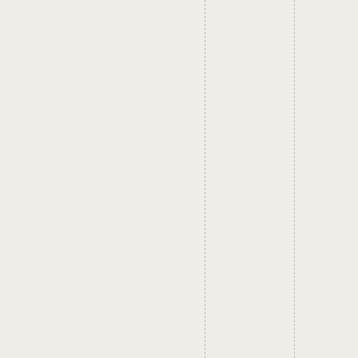possible it is only possible to change if the person is deeply motivated to change and willing